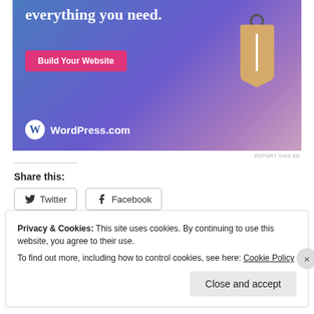[Figure (screenshot): WordPress.com advertisement banner with blue-purple gradient background, text 'everything you need.', pink 'Build Your Website' button, a hanging price tag illustration, and WordPress.com logo at bottom left.]
REPORT THIS AD
Share this:
Twitter  Facebook
Privacy & Cookies: This site uses cookies. By continuing to use this website, you agree to their use.
To find out more, including how to control cookies, see here: Cookie Policy
Close and accept